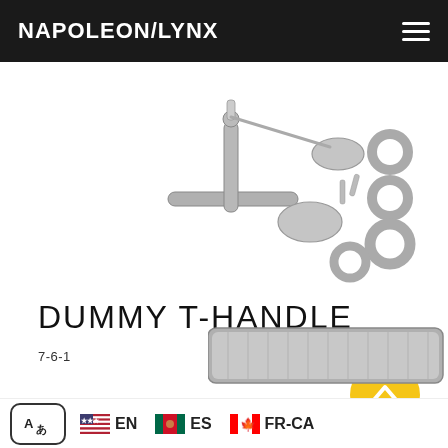NAPOLEON/LYNX
[Figure (photo): Product photo of a dummy T-handle hardware kit including a T-shaped handle, mounting plate, screws, and washers arranged on a white background]
DUMMY T-HANDLE
7-6-1
[Figure (photo): Partial view of a second product (appears to be a metal bar/handle) at the bottom right of the page]
EN  ES  FR-CA